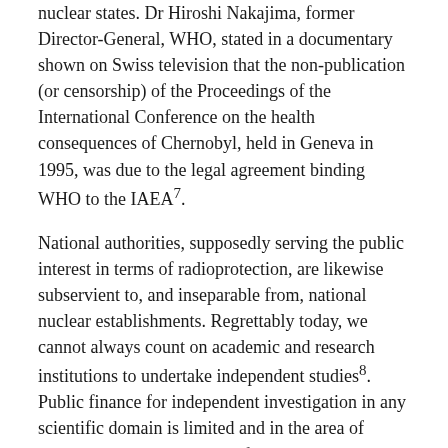nuclear states. Dr Hiroshi Nakajima, former Director-General, WHO, stated in a documentary shown on Swiss television that the non-publication (or censorship) of the Proceedings of the International Conference on the health consequences of Chernobyl, held in Geneva in 1995, was due to the legal agreement binding WHO to the IAEA7.
National authorities, supposedly serving the public interest in terms of radioprotection, are likewise subservient to, and inseparable from, national nuclear establishments. Regrettably today, we cannot always count on academic and research institutions to undertake independent studies8. Public finance for independent investigation in any scientific domain is limited and in the area of radiation and health, much of the so-called “peer reviewed literature” emanates from, or is financed and then filtered by, the nuclear establishment.
There is, however, a large body of evidence from independent researchers and institutes in the three countries, available only in Russian and ignored by the international medical community9.